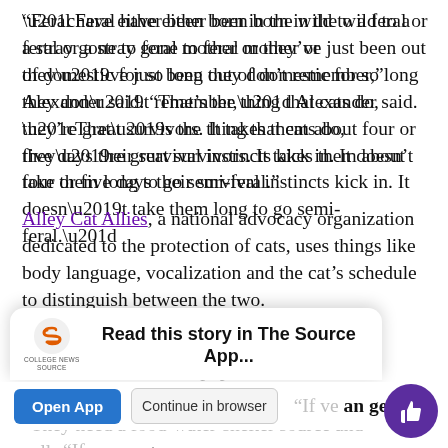“Feral have either been born in the wild to a feral or a stray gone to feral mother or they’ve just been out of domestic for so long they don’t remember,” Alexander said. “That’s the thing that cats do, they’re great survivors. It takes them about four or five days their survival instincts kick in. It doesn’t take them long to go semi-feral.”
Alley Cat Allies, a national advocacy organization dedicated to the protection of cats, uses things like body language, vocalization and the cat’s schedule to distinguish between the two.
Alexander said cat populations on college campuses, like a lot of TCU’s cat population, come from students abandoning their pet.
[Figure (screenshot): App promotion banner overlay with College News Source logo and 'Read this story in The Source App...' text, with Open App and Continue in browser buttons, and a purple thumbs-up circle button.]